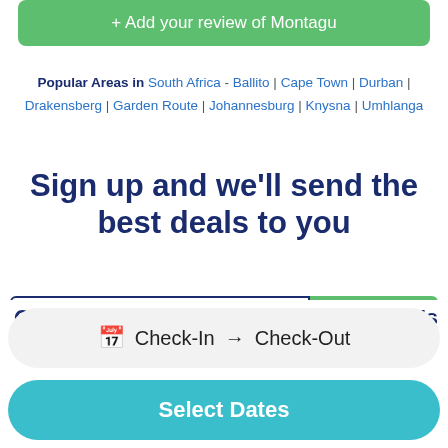+ Add your review of Montagu
Popular Areas in South Africa - Ballito | Cape Town | Durban | Drakensberg | Garden Route | Johannesburg | Knysna | Umhlanga
Sign up and we'll send the best deals to you
Your Email
Subscribe
Quick Links
About Us
Check-In → Check-Out
Select Dates